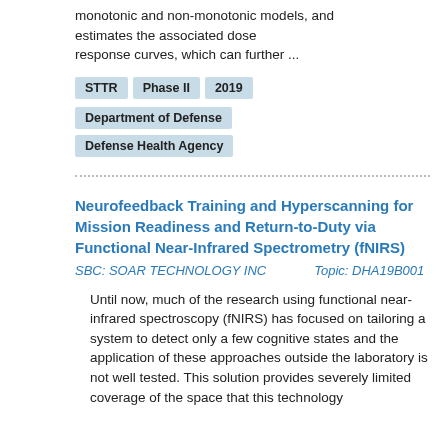monotonic and non-monotonic models, and estimates the associated dose response curves, which can further ...
STTR
Phase II
2019
Department of Defense
Defense Health Agency
Neurofeedback Training and Hyperscanning for Mission Readiness and Return-to-Duty via Functional Near-Infrared Spectrometry (fNIRS)
SBC: SOAR TECHNOLOGY INC    Topic: DHA19B001
Until now, much of the research using functional near-infrared spectroscopy (fNIRS) has focused on tailoring a system to detect only a few cognitive states and the application of these approaches outside the laboratory is not well tested. This solution provides severely limited coverage of the space that this technology